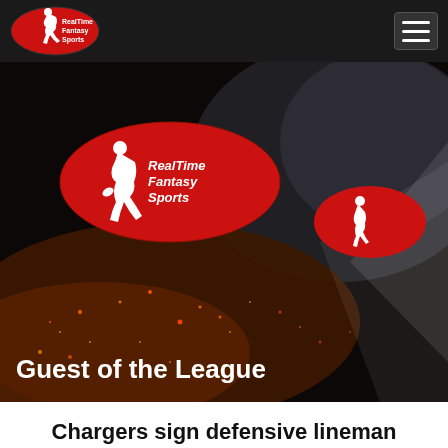[Figure (logo): RealTime Fantasy Sports logo with football player silhouette on red oval]
[Figure (illustration): Hero banner with dark fiery background, RealTime Fantasy Sports logo, and smaller red oval logo on right side]
Guest of the League
Chargers sign defensive lineman Morgan Fox
Wed May 18 3:59pm ET
COSTA MESA, Calif. (AP) The Los Angeles Chargers continued the offseason rebuild of their defense by signing defensive lineman Morgan Fox on Wednesday.
Fox will be entering his seventh year in the league. He spent his first five seasons with the Rams (2016-20) before going to the Carolina